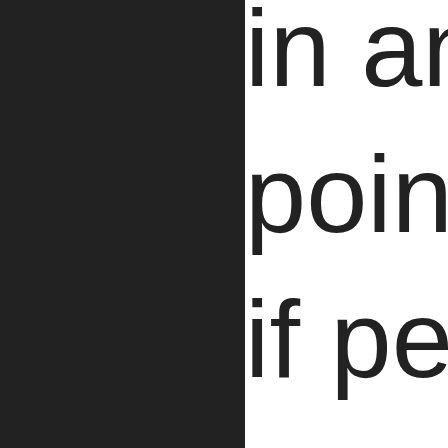[Figure (other): Dark left panel background (black/dark gray)]
in an
point
if peo
Read More...
Reported By Freedomsphoenix R